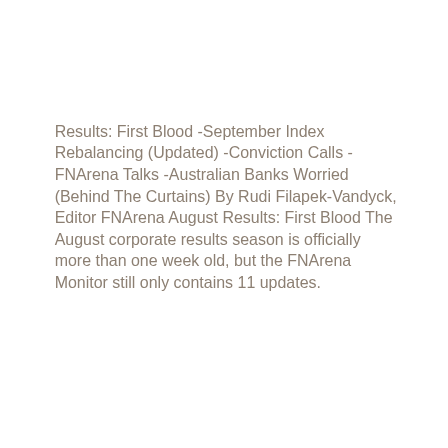Results: First Blood -September Index Rebalancing (Updated) -Conviction Calls -FNArena Talks -Australian Banks Worried (Behind The Curtains) By Rudi Filapek-Vandyck, Editor FNArena August Results: First Blood The August corporate results season is officially more than one week old, but the FNArena Monitor still only contains 11 updates.
...